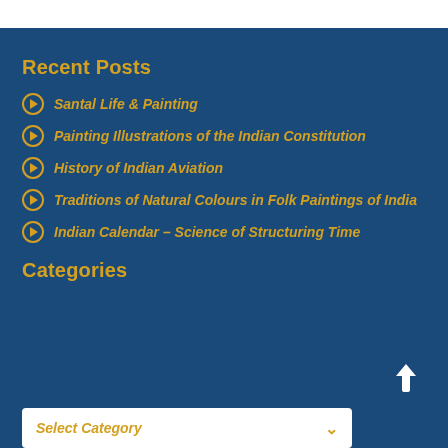Recent Posts
Santal Life & Painting
Painting Illustrations of the Indian Constitution
History of Indian Aviation
Traditions of Natural Colours in Folk Paintings of India
Indian Calendar – Science of Structuring Time
Categories